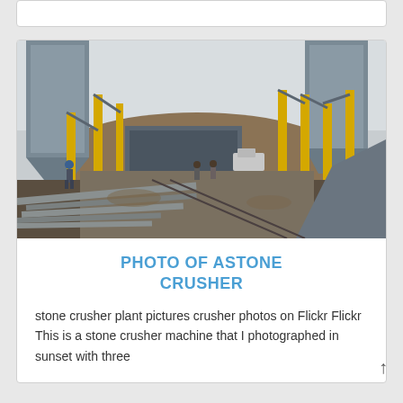[Figure (photo): Industrial stone crusher plant facility with large grey silos/hoppers supported by yellow steel columns, workers visible on the floor, construction materials and metal beams in foreground, overcast sky in background.]
PHOTO OF ASTONE CRUSHER
stone crusher plant pictures crusher photos on Flickr Flickr This is a stone crusher machine that I photographed in sunset with three